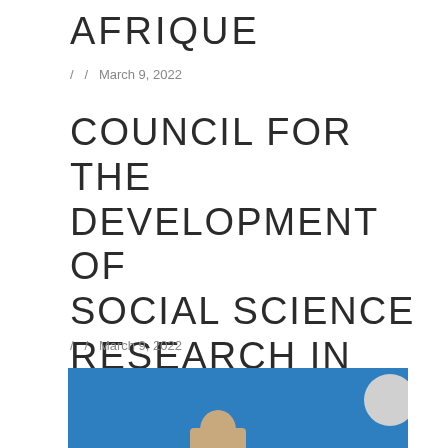AFRIQUE
/ / March 9, 2022
COUNCIL FOR THE DEVELOPMENT OF SOCIAL SCIENCE RESEARCH IN AFRICA
/ / March 9, 2022
[Figure (photo): A person photographed against a blue background, with a circular grey element in the upper right area of the image. The image is partially visible, cropped at the bottom of the page.]